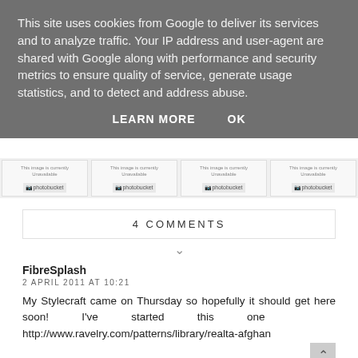This site uses cookies from Google to deliver its services and to analyze traffic. Your IP address and user-agent are shared with Google along with performance and security metrics to ensure quality of service, generate usage statistics, and to detect and address abuse.
LEARN MORE    OK
[Figure (screenshot): Four Photobucket unavailable image placeholders in a row]
4 COMMENTS
FibreSplash
2 APRIL 2011 AT 10:21
My Stylecraft came on Thursday so hopefully it should get here soon! I've started this one http://www.ravelry.com/patterns/library/realta-afghan
REPLY